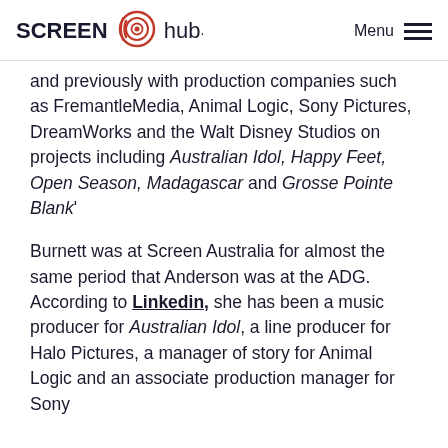SCREEN hub· Menu
and previously with production companies such as FremantleMedia, Animal Logic, Sony Pictures, DreamWorks and the Walt Disney Studios on projects including Australian Idol, Happy Feet, Open Season, Madagascar and Grosse Pointe Blank'
Burnett was at Screen Australia for almost the same period that Anderson was at the ADG. According to Linkedin, she has been a music producer for Australian Idol, a line producer for Halo Pictures, a manager of story for Animal Logic and an associate production manager for Sony